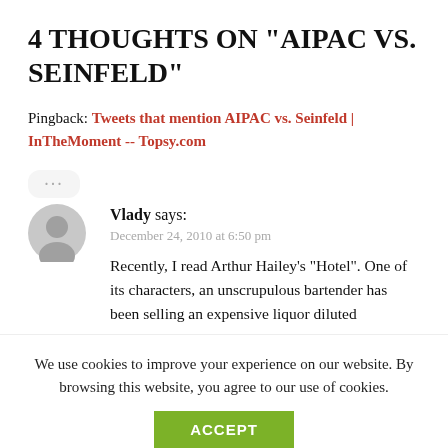4 THOUGHTS ON “AIPAC VS. SEINFELD”
Pingback: Tweets that mention AIPAC vs. Seinfeld | InTheMoment -- Topsy.com
Vlady says:
December 24, 2010 at 6:50 pm
Recently, I read Arthur Hailey’s “Hotel”. One of its characters, an unscrupulous bartender has been selling an expensive liquor diluted
We use cookies to improve your experience on our website. By browsing this website, you agree to our use of cookies.